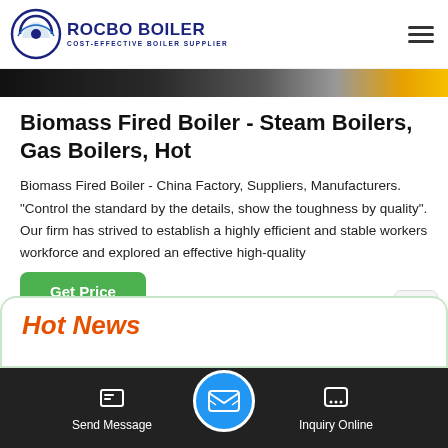ROCBO BOILER - COST-EFFECTIVE BOILER SUPPLIER
[Figure (photo): Dark banner strip showing a partially visible boiler/industrial equipment photo with a yellow accent on the right]
Biomass Fired Boiler - Steam Boilers, Gas Boilers, Hot
Biomass Fired Boiler - China Factory, Suppliers, Manufacturers. "Control the standard by the details, show the toughness by quality". Our firm has strived to establish a highly efficient and stable workers workforce and explored an effective high-quality
Hot News
Send Message | Inquiry Online